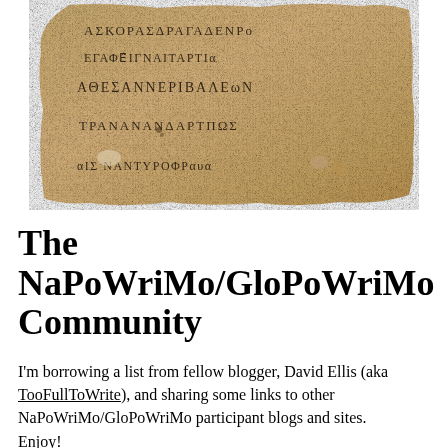[Figure (photo): Photograph of an ancient papyrus fragment with Greek text written in dark ink on a tan/brown background. The papyrus has rough, torn edges. Several lines of ancient Greek script are visible.]
The NaPoWriMo/GloPoWriMo Community
I'm borrowing a list from fellow blogger, David Ellis (aka TooFullToWrite), and sharing some links to other NaPoWriMo/GloPoWriMo participant blogs and sites. Enjoy!